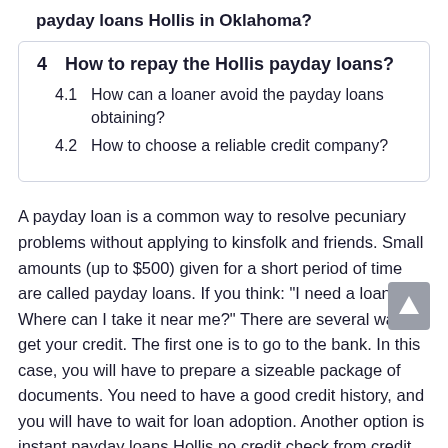payday loans Hollis in Oklahoma?
4  How to repay the Hollis payday loans?
4.1  How can a loaner avoid the payday loans obtaining?
4.2  How to choose a reliable credit company?
A payday loan is a common way to resolve pecuniary problems without applying to kinsfolk and friends. Small amounts (up to $500) given for a short period of time are called payday loans. If you think: "I need a loan. Where can I take it near me?" There are several ways to get your credit. The first one is to go to the bank. In this case, you will have to prepare a sizeable package of documents. You need to have a good credit history, and you will have to wait for loan adoption. Another option is instant payday loans Hollis no credit check from credit companies. You don't